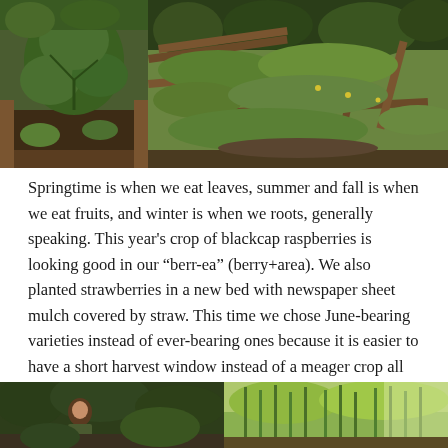[Figure (photo): Two garden photos side by side at top: left shows a raised bed with leafy green plants, right shows an overview of terraced garden beds with various green plants and wooden frames.]
Springtime is when we eat leaves, summer and fall is when we eat fruits, and winter is when we roots, generally speaking. This year's crop of blackcap raspberries is looking good in our ‚berr-ea” (berry+area). We also planted strawberries in a new bed with newspaper sheet mulch covered by straw. This time we chose June-bearing varieties instead of ever-bearing ones because it is easier to have a short harvest window instead of a meager crop all summer.
[Figure (photo): Two garden photos side by side at bottom: left shows a person near dark green foliage, right shows a garden area with lighter green plants.]